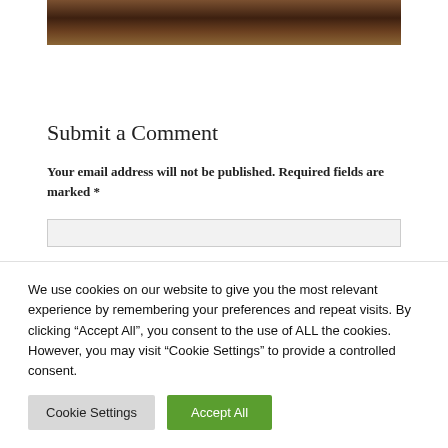[Figure (photo): Partial view of a dark wooden furniture piece or cabinet, cropped at the top of the page]
Submit a Comment
Your email address will not be published. Required fields are marked *
We use cookies on our website to give you the most relevant experience by remembering your preferences and repeat visits. By clicking “Accept All”, you consent to the use of ALL the cookies. However, you may visit "Cookie Settings" to provide a controlled consent.